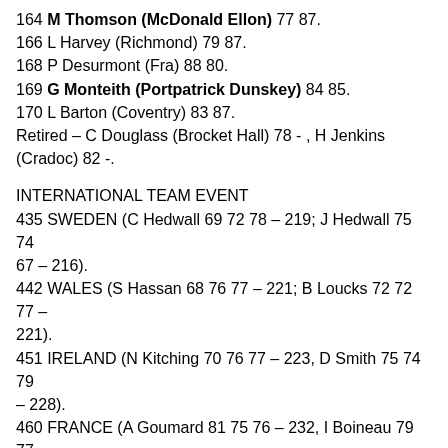164 M Thomson (McDonald Ellon) 77 87.
166 L Harvey (Richmond) 79 87.
168 P Desurmont (Fra) 88 80.
169 G Monteith (Portpatrick Dunskey) 84 85.
170 L Barton (Coventry) 83 87.
Retired – C Douglass (Brocket Hall) 78 - , H Jenkins (Cradoc) 82 -.
INTERNATIONAL TEAM EVENT
435 SWEDEN (C Hedwall 69 72 78 – 219; J Hedwall 75 74 67 – 216).
442 WALES (S Hassan 68 76 77 – 221; B Loucks 72 72 77 – 221).
451 IRELAND (N Kitching 70 76 77 – 223, D Smith 75 74 79 – 228).
460 FRANCE (A Goumard 81 75 76 – 232, I Boineau 79 77 72 – 228).
461 ENGLAND (H Barwood 73 76 75 – 224, S James 76 82 79 – 237).
DNQ – SCOTLAND (P Pretswell 76 72 74 – 222; M Thomson 77 87 DNQ
Thanks go to Colin Farquharson for all the detailed